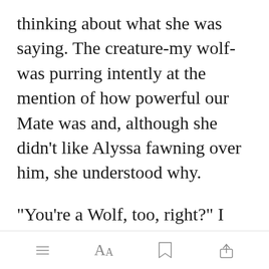thinking about what she was saying. The creature-my wolf-was purring intently at the mention of how powerful our Mate was and, although she didn't like Alyssa fawning over him, she understood why.
"You're a Wolf, too, right?" I asked.
She nodded. "[Open in app]when I was
[toolbar icons: menu, AA, bookmark, share]